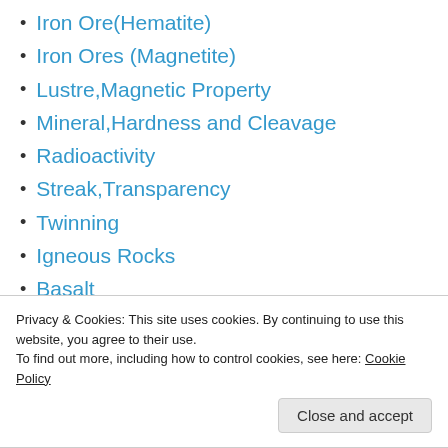Iron Ore(Hematite)
Iron Ores (Magnetite)
Lustre,Magnetic Property
Mineral,Hardness and Cleavage
Radioactivity
Streak,Transparency
Twinning
Igneous Rocks
Basalt
Gabbro
Granite
Obsidian
Privacy & Cookies: This site uses cookies. By continuing to use this website, you agree to their use.
To find out more, including how to control cookies, see here: Cookie Policy